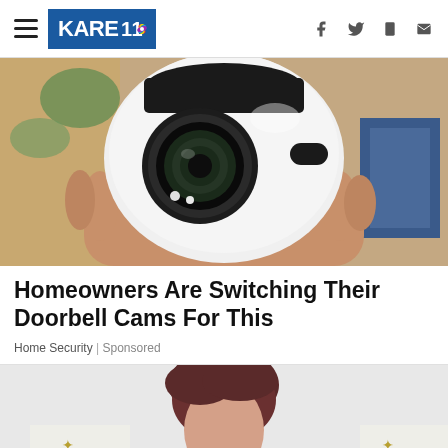KARE 11 NBC — navigation header with hamburger menu and social icons
[Figure (photo): Close-up of a hand holding a white egg-shaped smart home security camera with a wide-angle lens, photographed against a blurred background with green and blue objects.]
Homeowners Are Switching Their Doorbell Cams For This
Home Security | Sponsored
[Figure (photo): Partial view of a person with short dark reddish-brown hair standing in front of a Hallmark Channel event backdrop, cropped at shoulders.]